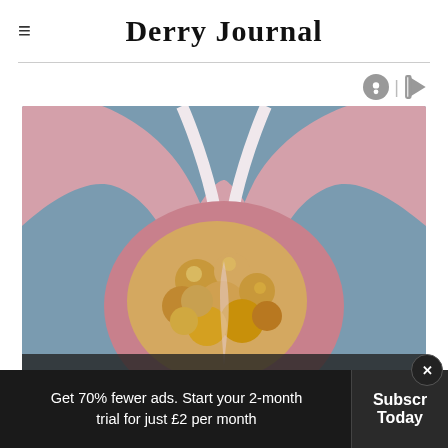Derry Journal
[Figure (illustration): Medical anatomical illustration showing a cross-section of an enlarged prostate gland with surrounding tissue, pink and beige coloration on a grey-blue background]
Get 70% fewer ads. Start your 2-month trial for just £2 per month
Subscribe Today